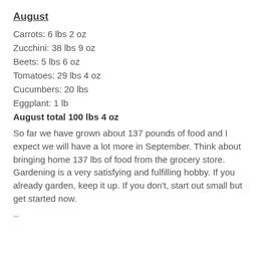August
Carrots: 6 lbs 2 oz
Zucchini: 38 lbs 9 oz
Beets: 5 lbs 6 oz
Tomatoes: 29 lbs 4 oz
Cucumbers: 20 lbs
Eggplant: 1 lb
August total 100 lbs 4 oz
So far we have grown about 137 pounds of food and I expect we will have a lot more in September. Think about bringing home 137 lbs of food from the grocery store. Gardening is a very satisfying and fulfilling hobby. If you already garden, keep it up. If you don't, start out small but get started now.
--